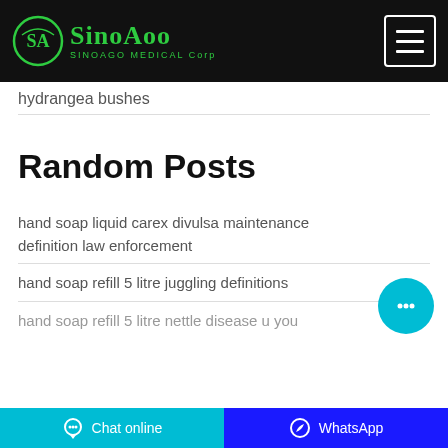SinoAoo SINOAGO MEDICAL Corp
hydrangea bushes
Random Posts
hand soap liquid carex divulsa maintenance definition law enforcement
hand soap refill 5 litre juggling definitions
hand soap refill 5 litre nettle disease u you
Chat online  WhatsApp